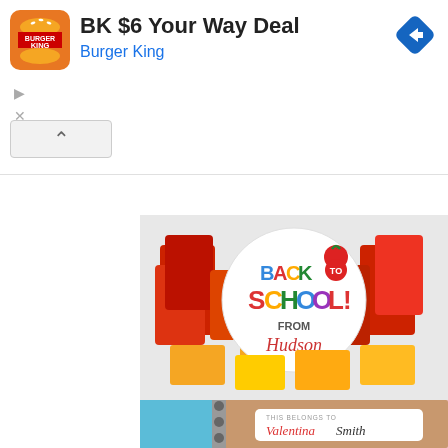[Figure (screenshot): Burger King advertisement banner: BK $6 Your Way Deal with Burger King logo and navigation icon]
[Figure (photo): Back to School gift bag with colorful candy/snacks and a circular label reading BACK TO SCHOOL! FROM Hudson]
[Figure (photo): Two kraft paper spiral notebooks on blue and pink background, with personalized name labels reading THIS BELONGS TO Valentina Smith]